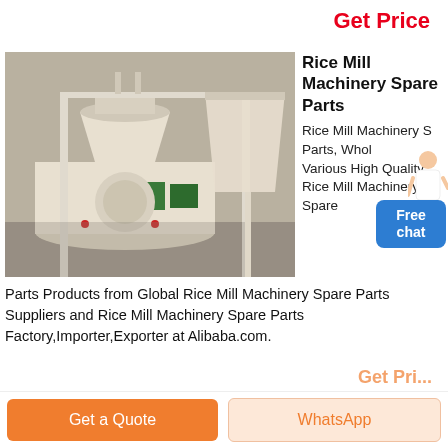Get Price
[Figure (photo): Industrial rice mill machinery with white cylindrical grinding unit, metal frame structure, and green electrical components in a factory/warehouse setting]
Rice Mill Machinery Spare Parts
Rice Mill Machinery Spare Parts, Wholesale Various High Quality Rice Mill Machinery Spare Parts Products from Global Rice Mill Machinery Spare Parts Suppliers and Rice Mill Machinery Spare Parts Factory,Importer,Exporter at Alibaba.com.
Get a Quote
WhatsApp